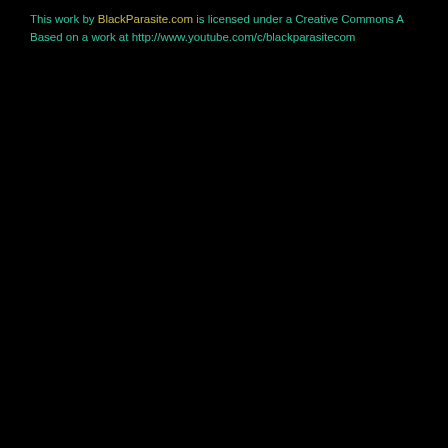This work by BlackParasite.com is licensed under a Creative Commons A... Based on a work at http://www.youtube.com/c/blackparasitecom